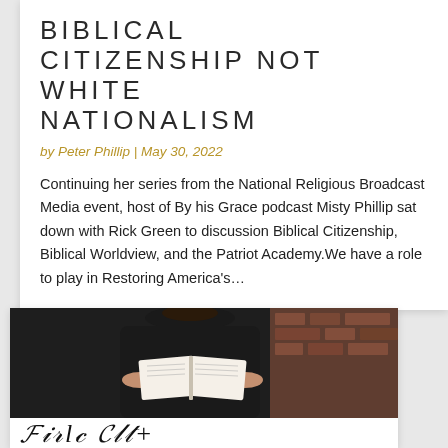BIBLICAL CITIZENSHIP NOT WHITE NATIONALISM
by Peter Phillip | May 30, 2022
Continuing her series from the National Religious Broadcast Media event, host of By his Grace podcast Misty Phillip sat down with Rick Green to discussion Biblical Citizenship, Biblical Worldview, and the Patriot Academy.We have a role to play in Restoring America's...
[Figure (photo): A person in dark clothing holding an open book (Bible), with a brick wall background, and cursive script text partially visible at the bottom]